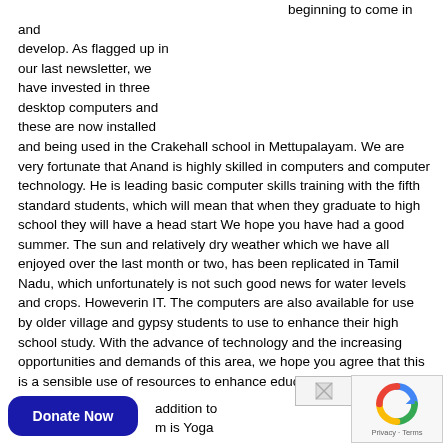beginning to come in and develop. As flagged up in our last newsletter, we have invested in three desktop computers and these are now installed and being used in the Crakehall school in Mettupalayam. We are very fortunate that Anand is highly skilled in computers and computer technology. He is leading basic computer skills training with the fifth standard students, which will mean that when they graduate to high school they will have a head start We hope you have had a good summer. The sun and relatively dry weather which we have all enjoyed over the last month or two, has been replicated in Tamil Nadu, which unfortunately is not such good news for water levels and crops. Howeverin IT. The computers are also available for use by older village and gypsy students to use to enhance their high school study. With the advance of technology and the increasing opportunities and demands of this area, we hope you agree that this is a sensible use of resources to enhance educational standards.
addition to m is Yoga
[Figure (other): Broken image placeholder]
[Figure (other): reCAPTCHA widget with Privacy and Terms links]